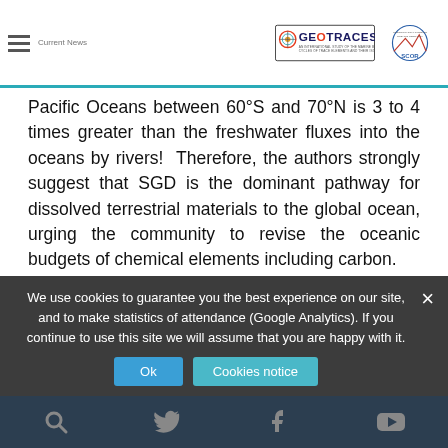GEOTRACES | SCOR — An International Study of the Marine Biogeochemical Cycles of Trace Elements and Their Isotopes
Pacific Oceans between 60°S and 70°N is 3 to 4 times greater than the freshwater fluxes into the oceans by rivers!  Therefore, the authors strongly suggest that SGD is the dominant pathway for dissolved terrestrial materials to the global ocean, urging the community to revise the oceanic budgets of chemical elements including carbon.
[Figure (map): Two world maps at Depth of 18m showing observed (Obs.) and modeled (Mod.) distributions, with latitude axis labeled, colored map plots]
We use cookies to guarantee you the best experience on our site, and to make statistics of attendance (Google Analytics). If you continue to use this site we will assume that you are happy with it.
Ok | Cookies notice | Search | Twitter | Facebook | YouTube